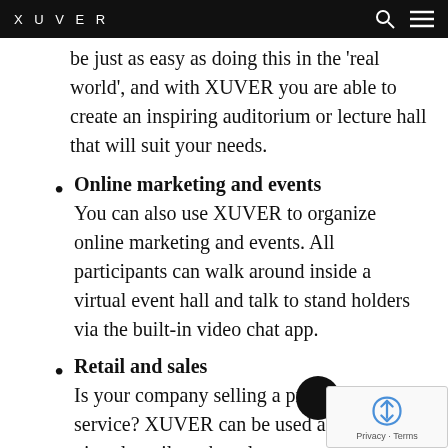XUVER
be just as easy as doing this in the 'real world', and with XUVER you are able to create an inspiring auditorium or lecture hall that will suit your needs.
Online marketing and events You can also use XUVER to organize online marketing and events. All participants can walk around inside a virtual event hall and talk to stand holders via the built-in video chat app.
Retail and sales Is your company selling a product or service? XUVER can be used as your virtual retail market place,